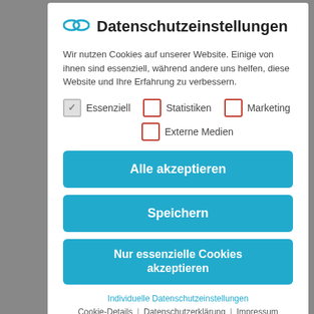Datenschutzeinstellungen
Wir nutzen Cookies auf unserer Website. Einige von ihnen sind essenziell, während andere uns helfen, diese Website und Ihre Erfahrung zu verbessern.
Essenziell (checked)
Statistiken (unchecked)
Marketing (unchecked)
Externe Medien (unchecked)
Alle akzeptieren
Speichern
Nur essenzielle Cookies akzeptieren
Individuelle Datenschutzeinstellungen
Cookie-Details | Datenschutzerklärung | Impressum